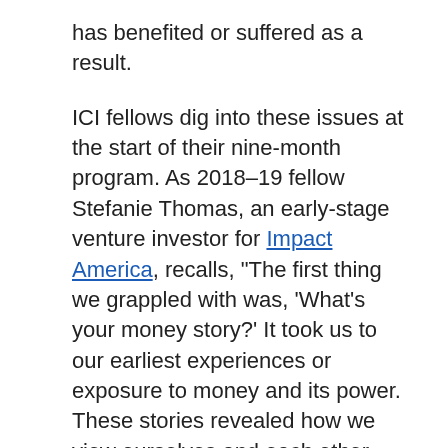has benefited or suffered as a result.

ICI fellows dig into these issues at the start of their nine-month program. As 2018–19 fellow Stefanie Thomas, an early-stage venture investor for Impact America, recalls, “The first thing we grappled with was, ‘What’s your money story?’ It took us to our earliest experiences or exposure to money and its power. These stories revealed how we view ourselves and each other, and how that dictates the ways we relate to one another.”